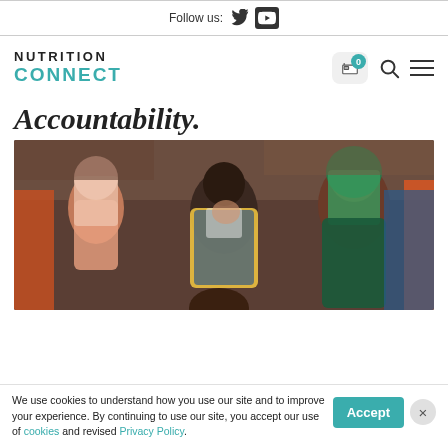Follow us:
[Figure (logo): Nutrition Connect logo with teal text]
Accountability.
[Figure (photo): Group of African women in colorful clothing at an outdoor market, smiling and laughing]
We use cookies to understand how you use our site and to improve your experience. By continuing to use our site, you accept our use of cookies and revised Privacy Policy.